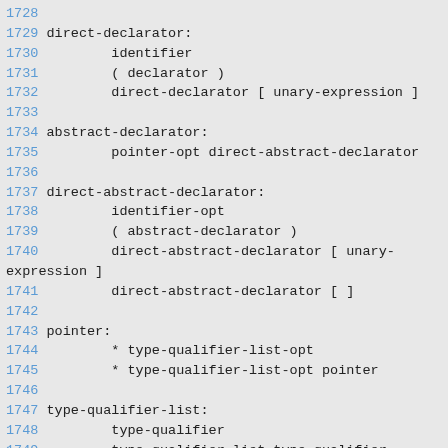1728
1729 direct-declarator:
1730         identifier
1731         ( declarator )
1732         direct-declarator [ unary-expression ]
1733
1734 abstract-declarator:
1735         pointer-opt direct-abstract-declarator
1736
1737 direct-abstract-declarator:
1738         identifier-opt
1739         ( abstract-declarator )
1740         direct-abstract-declarator [ unary-expression ]
1741         direct-abstract-declarator [ ]
1742
1743 pointer:
1744         * type-qualifier-list-opt
1745         * type-qualifier-list-opt pointer
1746
1747 type-qualifier-list:
1748         type-qualifier
1749         type-qualifier-list type-qualifier
1750
1751 typedef-name: